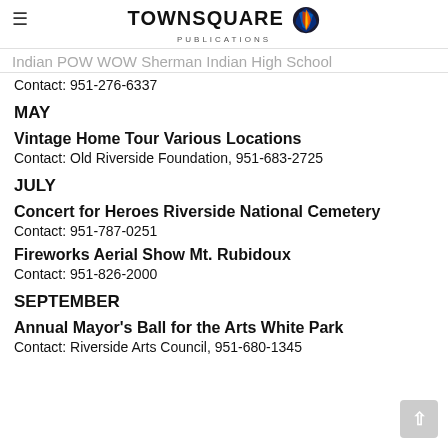TOWNSQUARE PUBLICATIONS
Indian POW WOW Sherman Indian High School
Contact: 951-276-6337
MAY
Vintage Home Tour Various Locations
Contact: Old Riverside Foundation, 951-683-2725
JULY
Concert for Heroes Riverside National Cemetery
Contact: 951-787-0251
Fireworks Aerial Show Mt. Rubidoux
Contact: 951-826-2000
SEPTEMBER
Annual Mayor's Ball for the Arts White Park
Contact: Riverside Arts Council, 951-680-1345